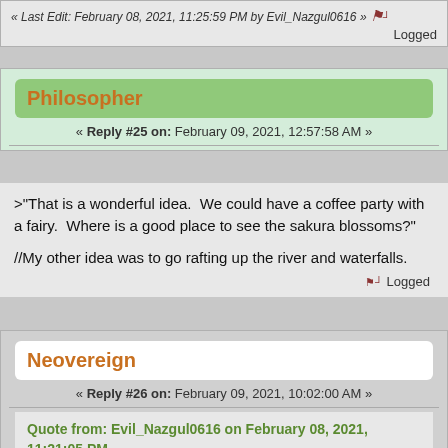« Last Edit: February 08, 2021, 11:25:59 PM by Evil_Nazgul0616 »  Logged
Philosopher
« Reply #25 on: February 09, 2021, 12:57:58 AM »
>"That is a wonderful idea.  We could have a coffee party with a fairy.  Where is a good place to see the sakura blossoms?"

//My other idea was to go rafting up the river and waterfalls.
Logged
Neovereign
« Reply #26 on: February 09, 2021, 10:02:00 AM »
Quote from: Evil_Nazgul0616 on February 08, 2021, 11:21:05 PM